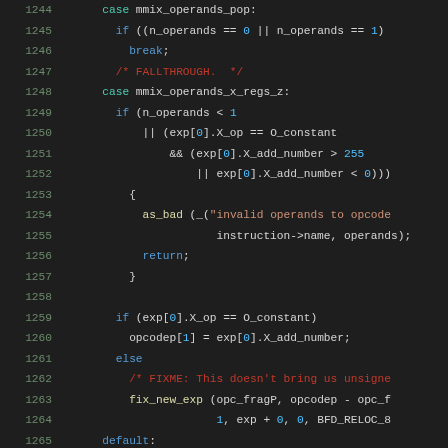[Figure (screenshot): Source code listing showing C code for an assembler, lines 1244-1265, with syntax highlighting on a dark background. Code handles mmix_operands_pop and mmix_operands_x_regs_z cases, checking operand validity and setting opcode fields.]